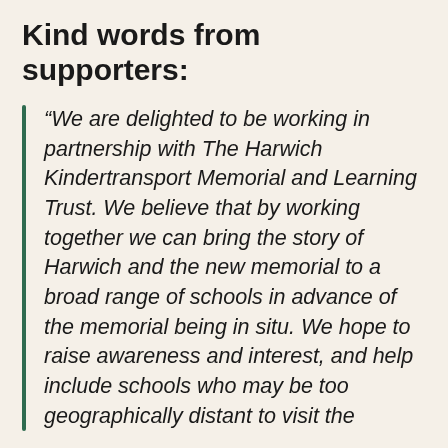Kind words from supporters:
“We are delighted to be working in partnership with The Harwich Kindertransport Memorial and Learning Trust. We believe that by working together we can bring the story of Harwich and the new memorial to a broad range of schools in advance of the memorial being in situ. We hope to raise awareness and interest, and help include schools who may be too geographically distant to visit the